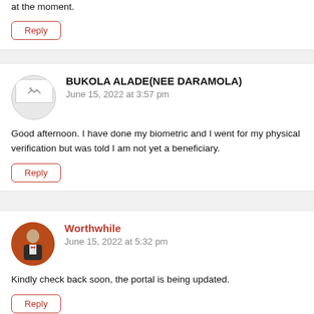at the moment.
Reply
BUKOLA ALADE(NEE DARAMOLA)
June 15, 2022 at 3:57 pm
Good afternoon. I have done my biometric and I went for my physical verification but was told I am not yet a beneficiary.
Reply
Worthwhile
June 15, 2022 at 5:32 pm
Kindly check back soon, the portal is being updated.
Reply